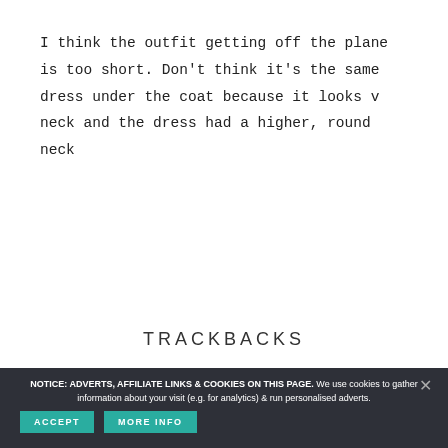I think the outfit getting off the plane is too short. Don't think it's the same dress under the coat because it looks v neck and the dress had a higher, round neck
TRACKBACKS
NOTICE: ADVERTS, AFFILIATE LINKS & COOKIES ON THIS PAGE. We use cookies to gather information about your visit (e.g. for analytics) & run personalised adverts.